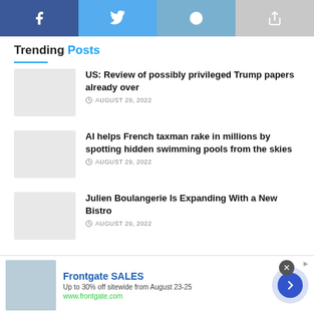[Figure (infographic): Social share bar with four buttons: Facebook (dark blue), Twitter (light blue), Reddit (medium blue), and a share/forward button (gray)]
Trending Posts
US: Review of possibly privileged Trump papers already over — AUGUST 29, 2022
AI helps French taxman rake in millions by spotting hidden swimming pools from the skies — AUGUST 29, 2022
Julien Boulangerie Is Expanding With a New Bistro — AUGUST 29, 2022
[Figure (infographic): Advertisement banner for Frontgate SALES — Up to 30% off sitewide from August 23-25, www.frontgate.com, with bedroom image and navigation arrow button]